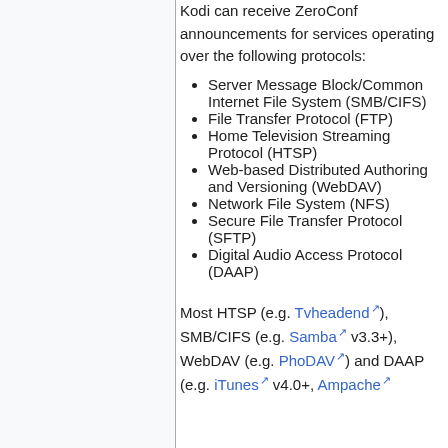Kodi can receive ZeroConf announcements for services operating over the following protocols:
Server Message Block/Common Internet File System (SMB/CIFS)
File Transfer Protocol (FTP)
Home Television Streaming Protocol (HTSP)
Web-based Distributed Authoring and Versioning (WebDAV)
Network File System (NFS)
Secure File Transfer Protocol (SFTP)
Digital Audio Access Protocol (DAAP)
Most HTSP (e.g. Tvheadend), SMB/CIFS (e.g. Samba v3.3+), WebDAV (e.g. PhoDAV) and DAAP (e.g. iTunes v4.0+, Ampache